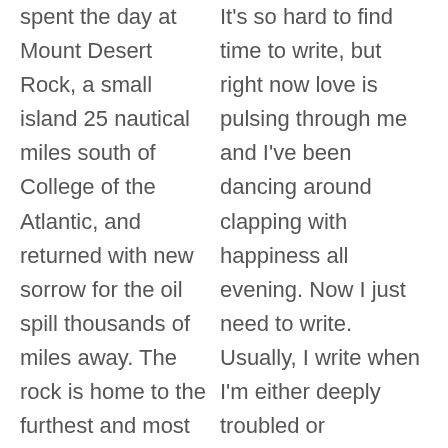spent the day at Mount Desert Rock, a small island 25 nautical miles south of College of the Atlantic, and returned with new sorrow for the oil spill thousands of miles away. The rock is home to the furthest and most exposed lighthouse on the
It's so hard to find time to write, but right now love is pulsing through me and I've been dancing around clapping with happiness all evening. Now I just need to write. Usually, I write when I'm either deeply troubled or overflowing with joy (and those two